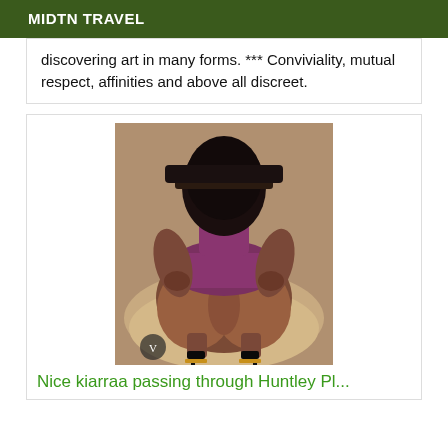MIDTN TRAVEL
discovering art in many forms. *** Conviviality, mutual respect, affinities and above all discreet.
[Figure (photo): A person posing from behind wearing purple lingerie and high heels, kneeling on a fur surface.]
Nice kiarraa passing through Huntley Pl...